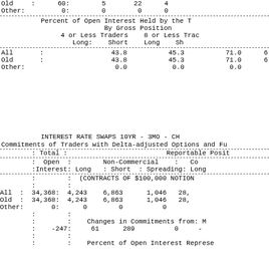| Old | : | 60: | 5 | 22 | 4 |  |
| Other: |  | 0: | 0 | 0 | 0 |  |
|  | Percent of Open Interest Held by the |  | By Gross Position |  | 4 or Less Traders | 8 or Less Tra... |  | Long: | Short | Long | Sh... |
| --- | --- | --- | --- | --- | --- | --- | --- | --- | --- | --- | --- |
| All | : |  | 43.8 | 45.3 | 71.0 | 6... |
| Old | : |  | 43.8 | 45.3 | 71.0 | 6... |
| Other: |  |  | 0.0 | 0.0 | 0.0 |  |
INTEREST RATE SWAPS 10YR - 3MO - CH...
Commitments of Traders with Delta-adjusted Options and Fu...
| Total | Reportable Posit... | Open Interest | Non-Commercial | Co... | Long | Short | Spreading: | Long... |
| --- | --- | --- | --- | --- | --- | --- | --- | --- |
|  |  | (CONTRACTS OF $100,000 NOTION... |
| All | 34,368: | 4,243 | 6,863 | 1,046 | 28,... |
| Old | 34,368: | 4,243 | 6,863 | 1,046 | 28,... |
| Other: | 0: | 0 | 0 | 0 |  |
|  |  | Changes in Commitments from: M... |
|  | -247: | 61 | 289 | 0 | -... |
|  |  | Percent of Open Interest Represented... |